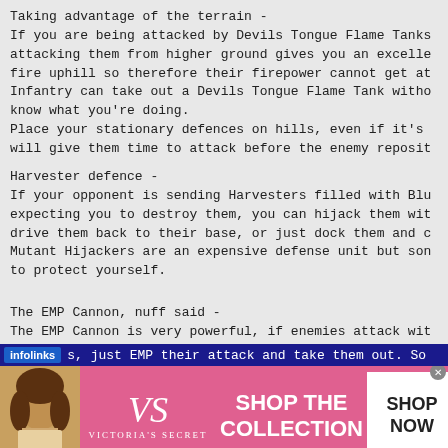Taking advantage of the terrain -
If you are being attacked by Devils Tongue Flame Tanks
attacking them from higher ground gives you an excelle
fire uphill so therefore their firepower cannot get at
Infantry can take out a Devils Tongue Flame Tank witho
know what you're doing.
Place your stationary defences on hills, even if it's
will give them time to attack before the enemy reposit
Harvester defence -
If your opponent is sending Harvesters filled with Blu
expecting you to destroy them, you can hijack them wit
drive them back to their base, or just dock them and c
Mutant Hijackers are an expensive defense unit but son
to protect yourself.
The EMP Cannon, nuff said -
The EMP Cannon is very powerful, if enemies attack wit
s, just EMP their attack and take them out. So
[Figure (screenshot): Advertisement banner: infolinks label on left, Victoria's Secret ad with pink background, model photo, VS logo, 'SHOP THE COLLECTION' text, and 'SHOP NOW' button]